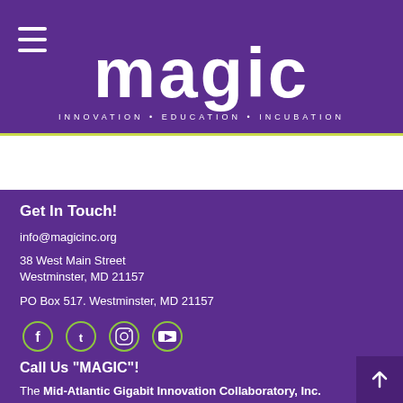[Figure (logo): MAGIC logo — large white text 'magic' with tagline 'INNOVATION • EDUCATION • INCUBATION' on purple background, with hamburger menu icon on left]
Get In Touch!
info@magicinc.org
38 West Main Street
Westminster, MD 21157
PO Box 517. Westminster, MD 21157
[Figure (illustration): Social media icons: Facebook, Twitter, Instagram, YouTube — circular outlines with green border on purple background]
Call Us "MAGIC"!
The Mid-Atlantic Gigabit Innovation Collaboratory, Inc.